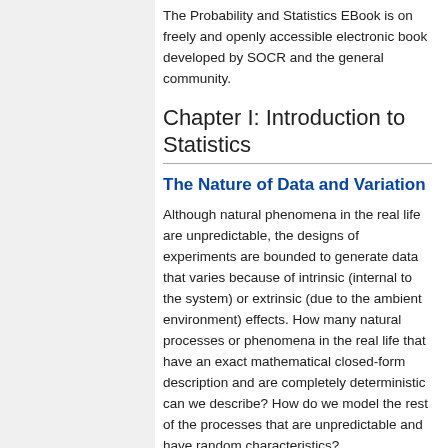The Probability and Statistics EBook is on freely and openly accessible electronic book developed by SOCR and the general community.
Chapter I: Introduction to Statistics
The Nature of Data and Variation
Although natural phenomena in the real life are unpredictable, the designs of experiments are bounded to generate data that varies because of intrinsic (internal to the system) or extrinsic (due to the ambient environment) effects. How many natural processes or phenomena in the real life that have an exact mathematical closed-form description and are completely deterministic can we describe? How do we model the rest of the processes that are unpredictable and have random characteristics?
Uses and Abuses of Statistics